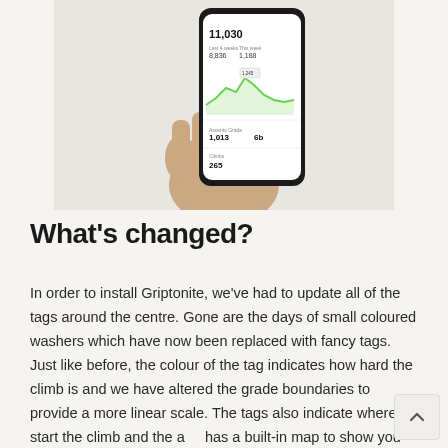[Figure (photo): A hand holding a smartphone displaying the Griptonite app with a green line chart showing 11,030 score, stats, and climb data on a light background.]
What's changed?
In order to install Griptonite, we've had to update all of the tags around the centre. Gone are the days of small coloured washers which have now been replaced with fancy tags. Just like before, the colour of the tag indicates how hard the climb is and we have altered the grade boundaries to provide a more linear scale. The tags also indicate where to start the climb and the app has a built-in map to show you exactly where every tag